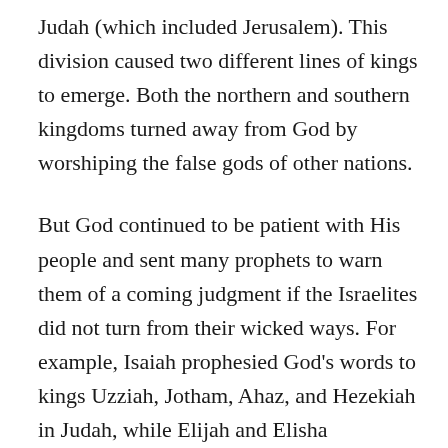Judah (which included Jerusalem). This division caused two different lines of kings to emerge. Both the northern and southern kingdoms turned away from God by worshiping the false gods of other nations.
But God continued to be patient with His people and sent many prophets to warn them of a coming judgment if the Israelites did not turn from their wicked ways. For example, Isaiah prophesied God’s words to kings Uzziah, Jotham, Ahaz, and Hezekiah in Judah, while Elijah and Elisha prophesied to the kings of Israel. The prophet Jeremiah took his turn in